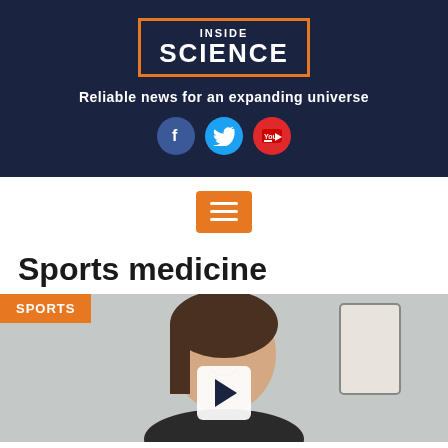[Figure (logo): Inside Science logo with orange bracket border on dark navy background]
Reliable news for an expanding universe
[Figure (infographic): Social media icons: Facebook, Twitter, YouTube]
[Figure (infographic): Orange hamburger menu button with three horizontal white lines]
Sports medicine
[Figure (photo): Video thumbnail showing a young woman smiling with SPORTS badge in orange and a play button overlay]